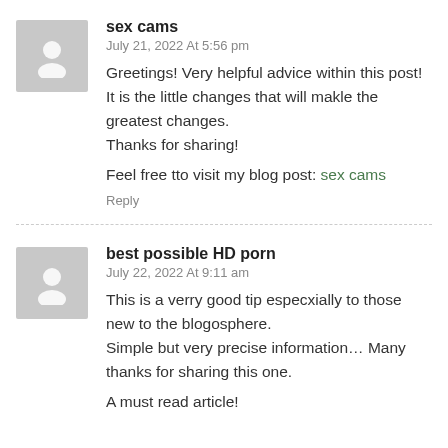[Figure (illustration): Grey avatar silhouette placeholder for user 'sex cams']
sex cams
July 21, 2022 At 5:56 pm
Greetings! Very helpful advice within this post! It is the little changes that will makle the greatest changes.
Thanks for sharing!

Feel free tto visit my blog post: sex cams
Reply
[Figure (illustration): Grey avatar silhouette placeholder for user 'best possible HD porn']
best possible HD porn
July 22, 2022 At 9:11 am
This is a verry good tip especxially to those new to the blogosphere.
Simple but very precise information… Many thanks for sharing this one.

A must read article!